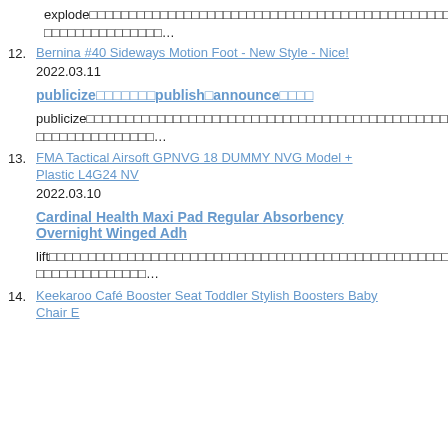explode…
12. Bernina #40 Sideways Motion Foot - New Style - Nice!
2022.03.11
publicize publish announce
publicize…
13. FMA Tactical Airsoft GPNVG 18 DUMMY NVG Model + Plastic L4G24 NV
2022.03.10
Cardinal Health Maxi Pad Regular Absorbency Overnight Winged Adh
lift…
14. Keekaroo Café Booster Seat Toddler Stylish Boosters Baby Chair E